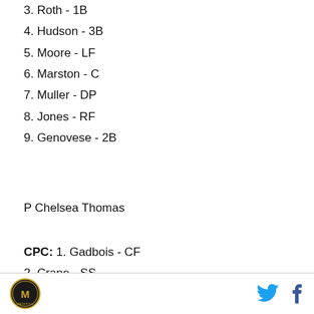3. Roth - 1B
4. Hudson - 3B
5. Moore - LF
6. Marston - C
7. Muller - DP
8. Jones - RF
9. Genovese - 2B
P Chelsea Thomas
CPC: 1. Gadbois - CF
2. Crane - SS
3. Hudson - 3B
4. Moore - RF
5. Marston - C
Logo | Twitter | Facebook